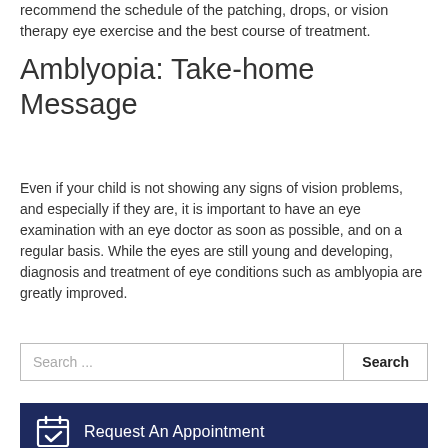recommend the schedule of the patching, drops, or vision therapy eye exercise and the best course of treatment.
Amblyopia: Take-home Message
Even if your child is not showing any signs of vision problems, and especially if they are, it is important to have an eye examination with an eye doctor as soon as possible, and on a regular basis. While the eyes are still young and developing, diagnosis and treatment of eye conditions such as amblyopia are greatly improved.
Search ...
Request An Appointment